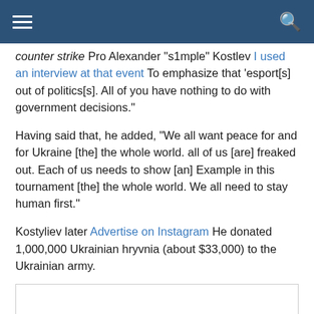Navigation bar with hamburger menu and search icon
counter strike Pro Alexander "s1mple" Kostlev I used an interview at that event To emphasize that 'esport[s] out of politics[s]. All of you have nothing to do with government decisions."
Having said that, he added, "We all want peace for and for Ukraine [the] the whole world. all of us [are] freaked out. Each of us needs to show [an] Example in this tournament [the] the whole world. We all need to stay human first."
Kostyliev later Advertise on Instagram He donated 1,000,000 Ukrainian hryvnia (about $33,000) to the Ukrainian army.
[Figure (other): Embedded content box (white rectangle with border), with a scroll-to-top button overlaid on the right side]